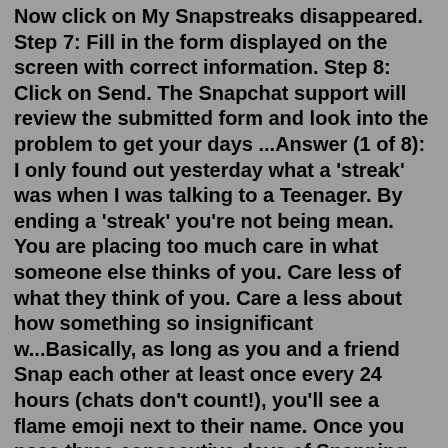Now click on My Snapstreaks disappeared. Step 7: Fill in the form displayed on the screen with correct information. Step 8: Click on Send. The Snapchat support will review the submitted form and look into the problem to get your days ...Answer (1 of 8): I only found out yesterday what a 'streak' was when I was talking to a Teenager. By ending a 'streak' you're not being mean. You are placing too much care in what someone else thinks of you. Care less of what they think of you. Care a less about how something so insignificant w...Basically, as long as you and a friend Snap each other at least once every 24 hours (chats don't count!), you'll see a flame emoji next to their name. Once you pass three consecutive days of Snapping one another, you'll see a number next to the emoji to indicate how long the streak has lasted. Article continues below advertisement.1. Go to settings option 2. Then open Manage preferences tab 3. Now go-to friend emojis .After going to friend emojis tab there is option of deleting streaks. Mar 16,